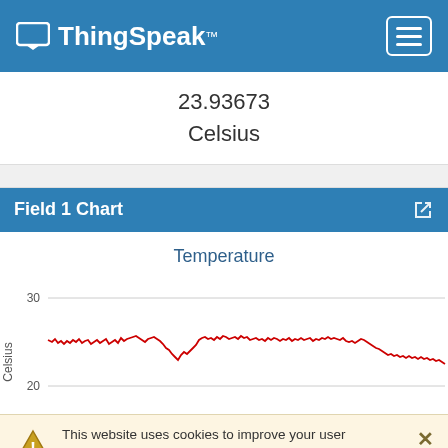ThingSpeak™
23.93673
Celsius
Field 1 Chart
[Figure (continuous-plot): Line chart titled 'Temperature' showing temperature in Celsius over time. The y-axis shows values from 20 to 30. A red noisy line fluctuates around 25-26 degrees Celsius with a slight dip around the middle and a gradual decline toward the right end.]
This website uses cookies to improve your user experience, personalize content and ads, and analyze website traffic. By continuing to use this website, you consent to our use of cookies. Please see our Privacy Policy to learn more about cookies and how to change your settings.